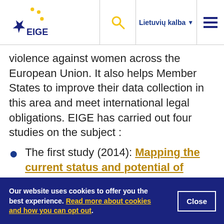EIGE | Lietuvių kalba
violence against women across the European Union. It also helps Member States to improve their data collection in this area and meet international legal obligations. EIGE has carried out four studies on the subject :
The first study (2014): Mapping the current status and potential of administrative data sources on gender-based violence in the EU
Our website uses cookies to offer you the best experience. Read more about cookies and how you can opt out.